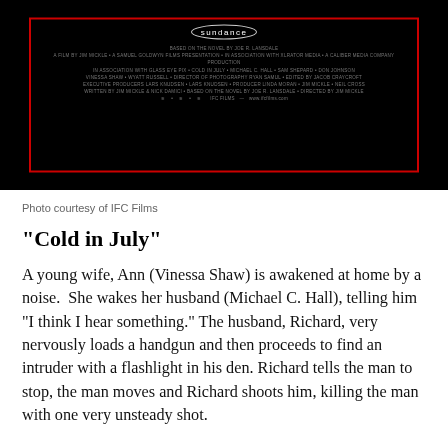[Figure (photo): Movie poster for 'Cold in July' on a black background with a red-bordered rectangle. Shows Sundance laurel at top and white credits text below.]
Photo courtesy of IFC Films
"Cold in July"
A young wife, Ann (Vinessa Shaw) is awakened at home by a noise.  She wakes her husband (Michael C. Hall), telling him "I think I hear something." The husband, Richard, very nervously loads a handgun and then proceeds to find an intruder with a flashlight in his den. Richard tells the man to stop, the man moves and Richard shoots him, killing the man with one very unsteady shot.